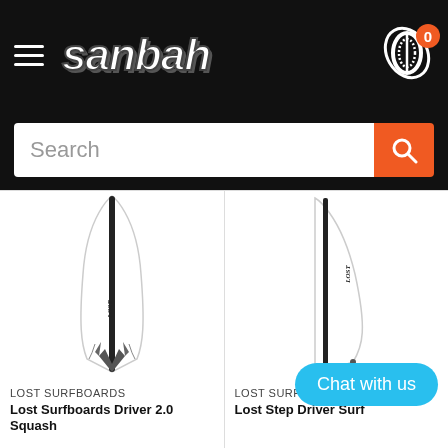[Figure (screenshot): Sanbah website header with hamburger menu, Sanbah logo in white italic bold text on black background, and shopping cart icon with orange badge showing 0 items]
[Figure (screenshot): Search bar with white input field showing placeholder text 'Search' and orange search button with magnifying glass icon]
[Figure (photo): Lost Surfboards Driver 2.0 Squash surfboard shown from above, white with black center stripe, pointed nose, squash tail, brand graphics visible]
LOST SURFBOARDS
Lost Surfboards Driver 2.0 Squash
[Figure (photo): Lost Step Driver surfboard, white board shown partially from above, with brand graphics visible, partially cropped]
LOST SURFBOARDS
Lost Step Driver Surf
Chat with us